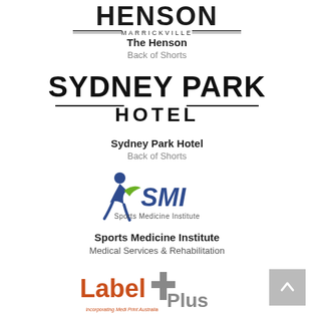[Figure (logo): Henson Marrickville logo — stylized text HENSON with decorative lines and MARRICKVILLE below]
The Henson
Back of Shorts
[Figure (logo): Sydney Park Hotel logo — large bold text SYDNEY PARK HOTEL with horizontal lines]
Sydney Park Hotel
Back of Shorts
[Figure (logo): SMI Sports Medicine Institute logo — running figure in blue and green with SMI text]
Sports Medicine Institute
Medical Services & Rehabilitation
[Figure (logo): Label Plus Incorporating Medi Print Australia logo — orange and grey cross/plus symbol with text]